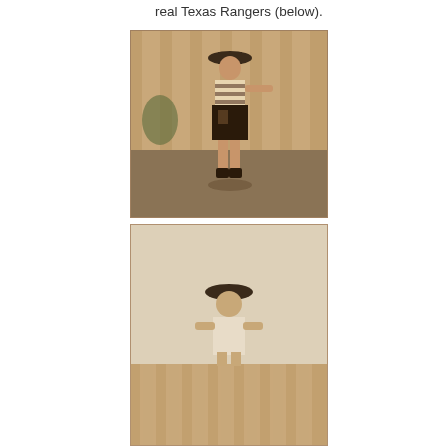real Texas Rangers (below).
[Figure (photo): Black and white sepia photograph of a young child dressed in cowboy/Texas Ranger costume with hat, vest, skirt, and holster, pointing a toy gun, standing in a backyard with a wooden fence.]
[Figure (photo): Black and white sepia photograph of a young child sitting outdoors wearing a cowboy hat, with a wooden fence visible in the background.]